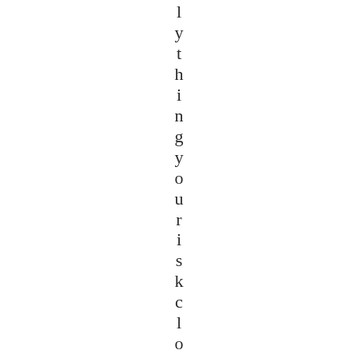l y t h i n g y o u r i s k c l o g g i n g i s t h